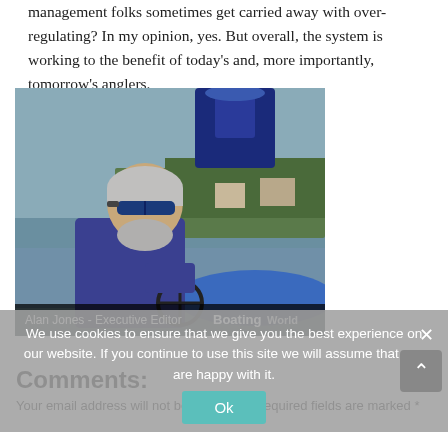management folks sometimes get carried away with over-regulating? In my opinion, yes. But overall, the system is working to the benefit of today's and, more importantly, tomorrow's anglers.
[Figure (photo): Man with gray hair and blue sunglasses driving a boat on a lake, wearing a blue polo shirt. A blue outboard motor is visible above. Caption bar at bottom reads: Alan Jones - Executive Editor | Boating World]
We use cookies to ensure that we give you the best experience on our website. If you continue to use this site we will assume that you are happy with it.
Comments:
Your email address will not be published. Required fields are marked *